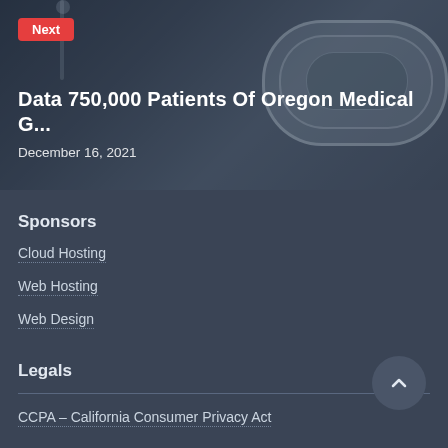[Figure (photo): MRI machine in a hospital setting, dark overlay, used as hero banner background image]
Next
Data 750,000 Patients Of Oregon Medical G...
December 16, 2021
Sponsors
Cloud Hosting
Web Hosting
Web Design
Legals
CCPA – California Consumer Privacy Act